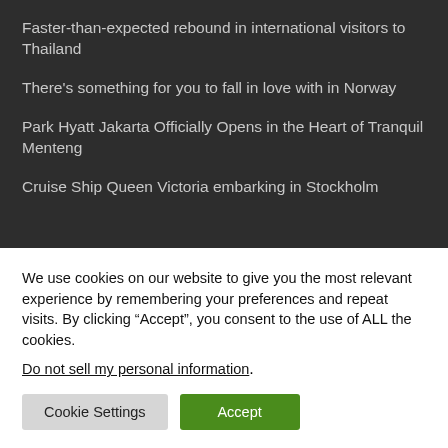Faster-than-expected rebound in international visitors to Thailand
There's something for you to fall in love with in Norway
Park Hyatt Jakarta Officially Opens in the Heart of Tranquil Menteng
Cruise Ship Queen Victoria embarking in Stockholm
We use cookies on our website to give you the most relevant experience by remembering your preferences and repeat visits. By clicking “Accept”, you consent to the use of ALL the cookies.
Do not sell my personal information.
Cookie Settings | Accept